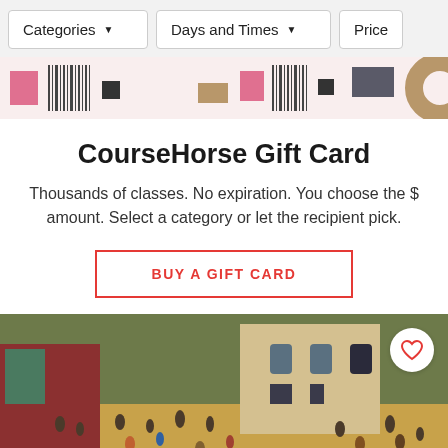Categories ▼   Days and Times ▼   Price
[Figure (illustration): Decorative banner with pink rectangles, barcode-like vertical lines, tan/khaki squares, and dark gray geometric shapes on a light pink background]
CourseHorse Gift Card
Thousands of classes. No expiration. You choose the $ amount. Select a category or let the recipient pick.
BUY A GIFT CARD
[Figure (photo): Painting of a crowded village scene in the style of Bruegel (Children's Games), showing many figures in period clothing around a town square with a large stone building]